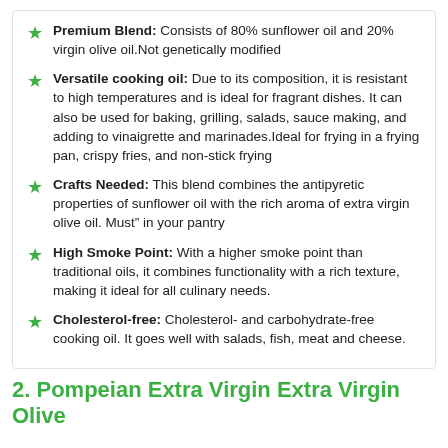Premium Blend: Consists of 80% sunflower oil and 20% virgin olive oil.Not genetically modified
Versatile cooking oil: Due to its composition, it is resistant to high temperatures and is ideal for fragrant dishes. It can also be used for baking, grilling, salads, sauce making, and adding to vinaigrette and marinades.Ideal for frying in a frying pan, crispy fries, and non-stick frying
Crafts Needed: This blend combines the antipyretic properties of sunflower oil with the rich aroma of extra virgin olive oil. Must" in your pantry
High Smoke Point: With a higher smoke point than traditional oils, it combines functionality with a rich texture, making it ideal for all culinary needs.
Cholesterol-free: Cholesterol- and carbohydrate-free cooking oil. It goes well with salads, fish, meat and cheese.
2. Pompeian Extra Virgin Extra Virgin Olive